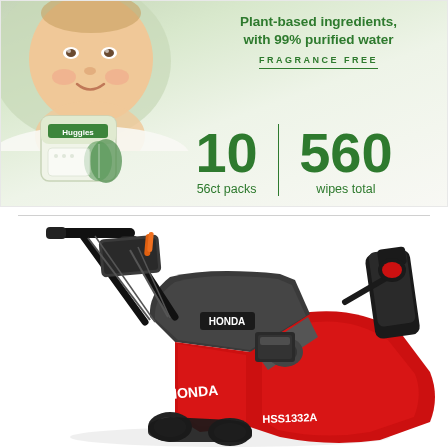[Figure (photo): Huggies Natural Care baby wipes product image. Shows a baby on the left, a pack of Huggies wipes, text reading 'Plant-based ingredients, with 99% purified water', 'FRAGRANCE FREE', '10 56ct packs', '560 wipes total' in green text.]
[Figure (photo): Honda HS5132A two-stage snow blower in red and gray, shown at an angle on white background.]